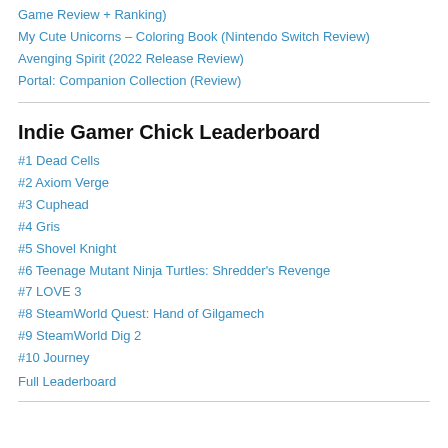Game Review + Ranking)
My Cute Unicorns – Coloring Book (Nintendo Switch Review)
Avenging Spirit (2022 Release Review)
Portal: Companion Collection (Review)
Indie Gamer Chick Leaderboard
#1 Dead Cells
#2 Axiom Verge
#3 Cuphead
#4 Gris
#5 Shovel Knight
#6 Teenage Mutant Ninja Turtles: Shredder's Revenge
#7 LOVE 3
#8 SteamWorld Quest: Hand of Gilgamech
#9 SteamWorld Dig 2
#10 Journey
Full Leaderboard